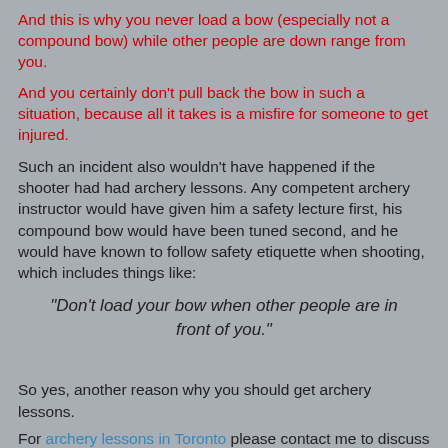And this is why you never load a bow (especially not a compound bow) while other people are down range from you.
And you certainly don't pull back the bow in such a situation, because all it takes is a misfire for someone to get injured.
Such an incident also wouldn't have happened if the shooter had had archery lessons. Any competent archery instructor would have given him a safety lecture first, his compound bow would have been tuned second, and he would have known to follow safety etiquette when shooting, which includes things like:
"Don't load your bow when other people are in front of you."
So yes, another reason why you should get archery lessons.
For archery lessons in Toronto please contact me to discuss availability.